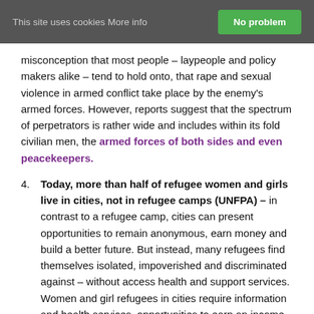This site uses cookies More info  No problem
misconception that most people – laypeople and policy makers alike – tend to hold onto, that rape and sexual violence in armed conflict take place by the enemy's armed forces. However, reports suggest that the spectrum of perpetrators is rather wide and includes within its fold civilian men, the armed forces of both sides and even peacekeepers.
4. Today, more than half of refugee women and girls live in cities, not in refugee camps (UNFPA) – in contrast to a refugee camp, cities can present opportunities to remain anonymous, earn money and build a better future. But instead, many refugees find themselves isolated, impoverished and discriminated against – without access health and support services. Women and girl refugees in cities require information and health services, opportunities to earn an income and safe spaces to socialize with peers,